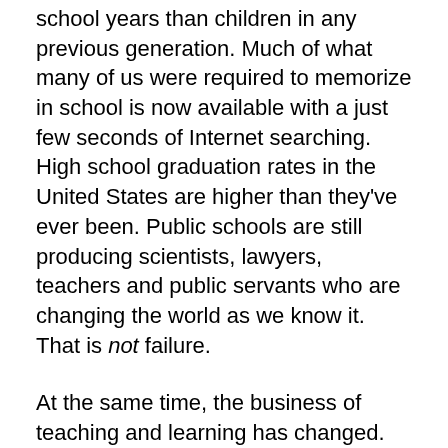school years than children in any previous generation. Much of what many of us were required to memorize in school is now available with a just few seconds of Internet searching. High school graduation rates in the United States are higher than they've ever been. Public schools are still producing scientists, lawyers, teachers and public servants who are changing the world as we know it. That is not failure.
At the same time, the business of teaching and learning has changed. Public education and educators must change with it. We've been guilty — we often don't make changes quickly enough and aren't always receptive to new ideas. In that resistance or simply inaction, educators left a void. Others were only too happy to step in and lead critical conversations about reforming education.
Educators were on the outside looking in. And when we